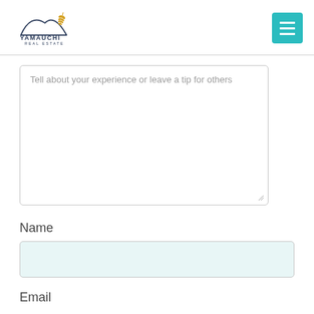[Figure (logo): Yamauchi Real Estate logo with mountain/bird silhouette and golden feather accent]
Tell about your experience or leave a tip for others
Name
Email